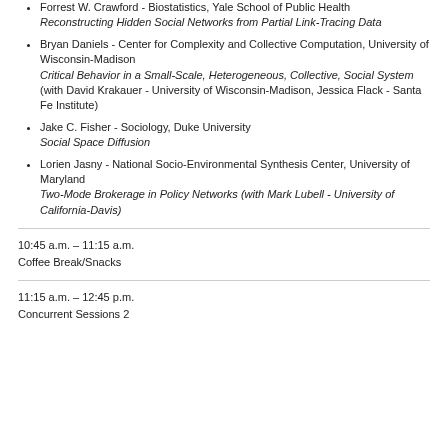Forrest W. Crawford - Biostatistics, Yale School of Public Health
Reconstructing Hidden Social Networks from Partial Link-Tracing Data
Bryan Daniels - Center for Complexity and Collective Computation, University of Wisconsin-Madison
Critical Behavior in a Small-Scale, Heterogeneous, Collective, Social System
(with David Krakauer - University of Wisconsin-Madison, Jessica Flack - Santa Fe Institute)
Jake C. Fisher - Sociology, Duke University
Social Space Diffusion
Lorien Jasny - National Socio-Environmental Synthesis Center, University of Maryland
Two-Mode Brokerage in Policy Networks (with Mark Lubell - University of California-Davis)
10:45 a.m. – 11:15 a.m.
Coffee Break/Snacks
11:15 a.m. – 12:45 p.m.
Concurrent Sessions 2